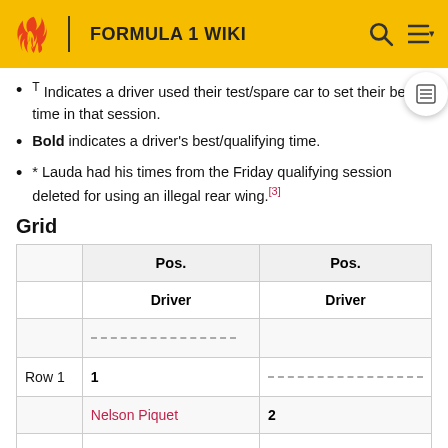FORMULA 1 WIKI
T Indicates a driver used their test/spare car to set their best time in that session.
Bold indicates a driver's best/qualifying time.
* Lauda had his times from the Friday qualifying session deleted for using an illegal rear wing.[3]
Grid
|  | Pos. / Driver | Pos. / Driver |
| --- | --- | --- |
|  | ---dashed--- |  |
| Row 1 | 1 | ---dashed--- |
|  | Nelson Piquet | 2 |
|  |  |  |